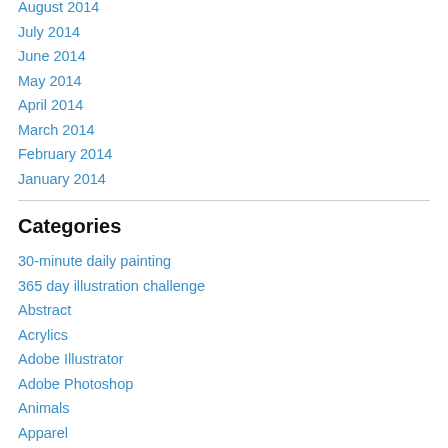August 2014
July 2014
June 2014
May 2014
April 2014
March 2014
February 2014
January 2014
Categories
30-minute daily painting
365 day illustration challenge
Abstract
Acrylics
Adobe Illustrator
Adobe Photoshop
Animals
Apparel